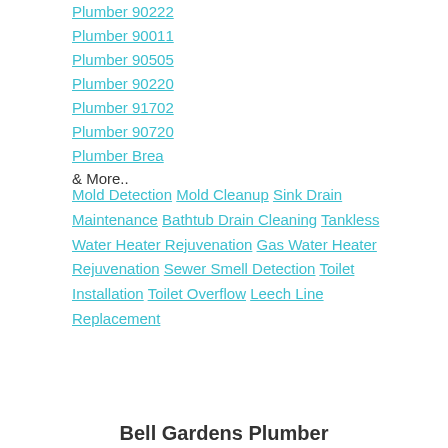Plumber 90222
Plumber 90011
Plumber 90505
Plumber 90220
Plumber 91702
Plumber 90720
Plumber Brea
& More..
Mold Detection Mold Cleanup Sink Drain Maintenance Bathtub Drain Cleaning Tankless Water Heater Rejuvenation Gas Water Heater Rejuvenation Sewer Smell Detection Toilet Installation Toilet Overflow Leech Line Replacement
Bell Gardens Plumber